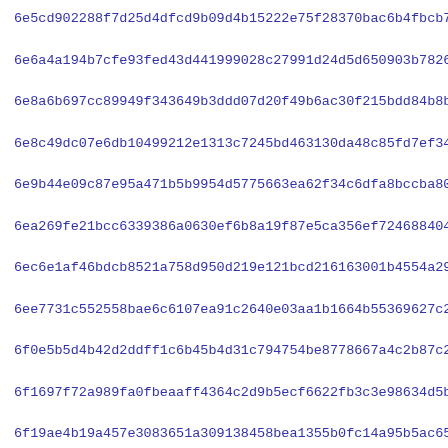6e5cd902288f7d25d4dfcd9b09d4b15222e75f28370bac6b4fbcb7ee39ae4...
6e6a4a194b7cfe93fed43d441999028c27991d24d5d650903b78264063186...
6e8a6b697cc89949f343649b3ddd07d20f49b6ac30f215bdd84b8bc5a5cfc...
6e8c49dc07e6db10499212e1313c7245bd463130da48c85fd7ef342a5a3d9...
6e9b44e09c87e95a471b5b9954d5775663ea62f34c6dfa8bccba80d2431be...
6ea269fe21bcc6339386a0630ef6b8a19f87e5ca356ef724688404581168e...
6ec6e1af46bdcb8521a758d950d219e121bcd216163001b4554a2974eec9e...
6ee7731c552558bae6c6107ea91c2640e03aa1b1664b55369627c2c3c83dc...
6f0e5b5d4b42d2ddff1c6b45b4d31c794754be8778667a4c2b87c245ca1ce...
6f1697f72a989fa0fbeaaff4364c2d9b5ecf6622fb3c3e98634d5b2037bdb...
6f19ae4b19a457e3083651a309138458bea1355b0fc14a95b5ac6599ac705...